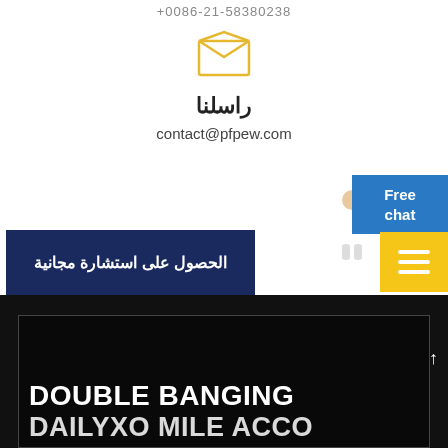+0086-21-58380238
[Figure (illustration): Yellow open envelope / mail icon]
راسلنا
contact@pfpew.com
الحصول على استشارة مجانية
[Figure (illustration): Free chat blue button with white text]
[Figure (illustration): Yellow hamburger menu button]
DOUBLE BANGING
DAILYXO MILE ACCO...